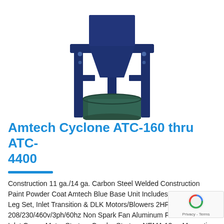[Figure (photo): Photo of Amtech Cyclone dust collector unit — a blue metal frame and hopper/cone assembly mounted on a stand, with a dark green 55-gallon drum positioned underneath to collect dust.]
Amtech Cyclone ATC-160 thru ATC-4400
Construction 11 ga./14 ga. Carbon Steel Welded Construction Paint Powder Coat Amtech Blue Base Unit Includes Barrel, Cone, Leg Set, Inlet Transition & DLK Motors/Blowers 2HP thru 50HP DD 208/230/460v/3ph/60hz Non Spark Fan Aluminum Fan Wheels & Inlet Cones Motor Starters Combo Starters NEMA 12 or Magnetic NEMA 1 Drums & Drum Lid Kits 20 or 55 Gallon Dust Drum & Drum Lid Kits Double